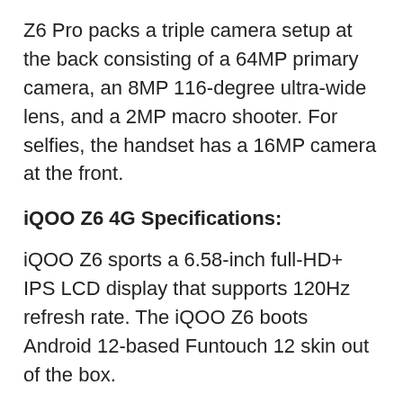Z6 Pro packs a triple camera setup at the back consisting of a 64MP primary camera, an 8MP 116-degree ultra-wide lens, and a 2MP macro shooter. For selfies, the handset has a 16MP camera at the front.
iQOO Z6 4G Specifications:
iQOO Z6 sports a 6.58-inch full-HD+ IPS LCD display that supports 120Hz refresh rate. The iQOO Z6 boots Android 12-based Funtouch 12 skin out of the box.
Under the hood, the device draws power from a Qualcomm Snapdragon 680 chipset paired with 8GB of RAM and 128GB of storage. iQOO Z6 packs a 5,000mAh battery with 44W fast charging support.
For photography, the smartphone packs a triple rear camera setup, consisting of a 50MP primary sensor. On the front, it